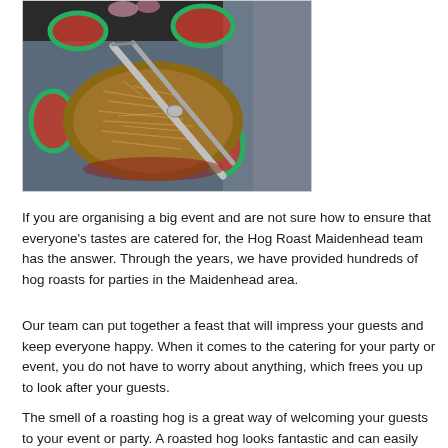[Figure (photo): Photo of a hog roast being carved, showing shredded meat with watermelon slices around it and metal carving tongs, with a blue denim background visible.]
If you are organising a big event and are not sure how to ensure that everyone's tastes are catered for, the Hog Roast Maidenhead team has the answer. Through the years, we have provided hundreds of hog roasts for parties in the Maidenhead area.
Our team can put together a feast that will impress your guests and keep everyone happy. When it comes to the catering for your party or event, you do not have to worry about anything, which frees you up to look after your guests.
The smell of a roasting hog is a great way of welcoming your guests to your event or party. A roasted hog looks fantastic and can easily